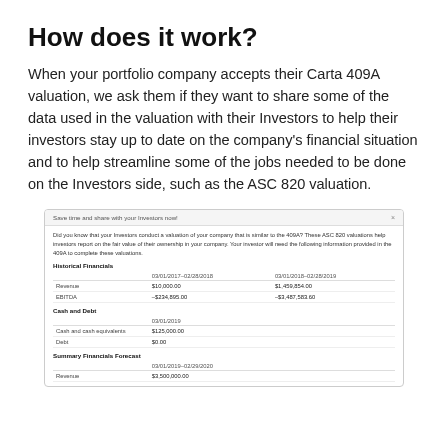How does it work?
When your portfolio company accepts their Carta 409A valuation, we ask them if they want to share some of the data used in the valuation with their Investors to help their investors stay up to date on the company's financial situation and to help streamline some of the jobs needed to be done on the Investors side, such as the ASC 820 valuation.
[Figure (screenshot): A modal dialog titled 'Save time and share with your Investors now!' showing financial data tables including Historical Financials with Revenue and EBITDA rows for date ranges 03/01/2017-02/28/2018 and 03/01/2018-02/28/2019, Cash and Debt section with Cash and cash equivalents and Debt rows as of 03/01/2019, and Summary Financials Forecast section for 03/01/2019-02/29/2020 with Revenue row.]